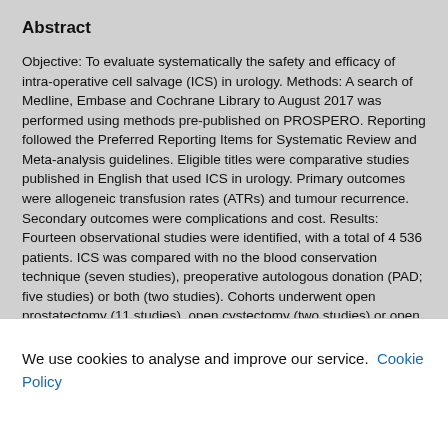Abstract
Objective: To evaluate systematically the safety and efficacy of intra-operative cell salvage (ICS) in urology. Methods: A search of Medline, Embase and Cochrane Library to August 2017 was performed using methods pre-published on PROSPERO. Reporting followed the Preferred Reporting Items for Systematic Review and Meta-analysis guidelines. Eligible titles were comparative studies published in English that used ICS in urology. Primary outcomes were allogeneic transfusion rates (ATRs) and tumour recurrence. Secondary outcomes were complications and cost. Results: Fourteen observational studies were identified, with a total of 4 536 patients. ICS was compared with no the blood conservation technique (seven studies), preoperative autologous donation (PAD; five studies) or both (two studies). Cohorts underwent open prostatectomy (11 studies), open cystectomy (two studies) or open partial
We use cookies to analyse and improve our service. Cookie Policy